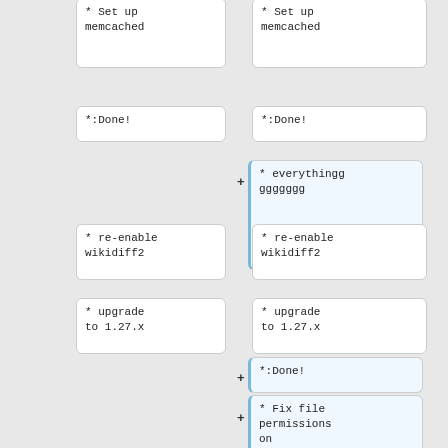[Figure (flowchart): Diff/comparison flowchart showing two parallel columns of nodes. Left column nodes: '* Set up memcached', '*:Done!', '* re-enable wikidiff2', '* upgrade to 1.27.x'. Right column nodes (highlighted in blue, with + markers): '* Set up memcached', '*:Done!', '* everythingggggggg', '* re-enable wikidiff2', '* upgrade to 1.27.x', '*:Done!', '* Fix file permissions on /var/www/mediawiki', '** Done'.]